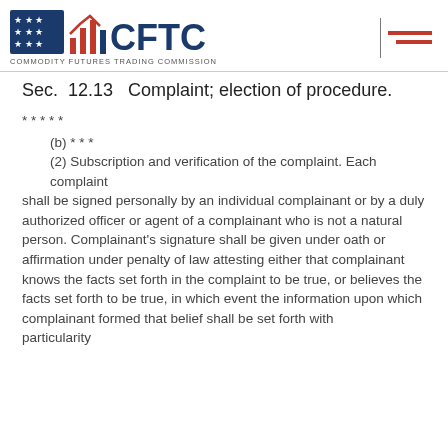[Figure (logo): CFTC logo — Commodity Futures Trading Commission — with stars-and-bars emblem and bar-chart icon, plus hamburger menu icon on right]
Sec.  12.13   Complaint; election of procedure.
* * * * *
    (b) * * *
    (2) Subscription and verification of the complaint. Each complaint shall be signed personally by an individual complainant or by a duly authorized officer or agent of a complainant who is not a natural person. Complainant's signature shall be given under oath or affirmation under penalty of law attesting either that complainant knows the facts set forth in the complaint to be true, or believes the facts set forth to be true, in which event the information upon which complainant formed that belief shall be set forth with particularity